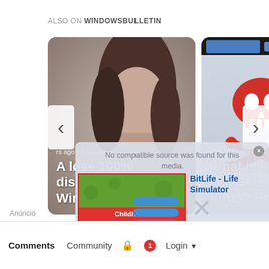ALSO ON WINDOWSBULLETIN
[Figure (screenshot): Carousel of two article cards. Left card: blurred woman silhouette background, text 'rs ago · 1 comment / A løse 100% diskbruk under Windows 10'. Right card: skull and crossbones on computer screenshot background, text '9 months ago · 2 ce / What is hl2.exe Is it Safe or a Virus? How to'. Left arrow (‹) and right arrow (›) navigation buttons.]
[Figure (screenshot): Ad overlay popup showing 'No compatible source was found for this media.' message, BitLife Life Simulator ad image, X button to close, and partially visible 'KEYBOARD NOT WORKING' text]
Comments   Community   🔒   1   Login ▾
Anúncio